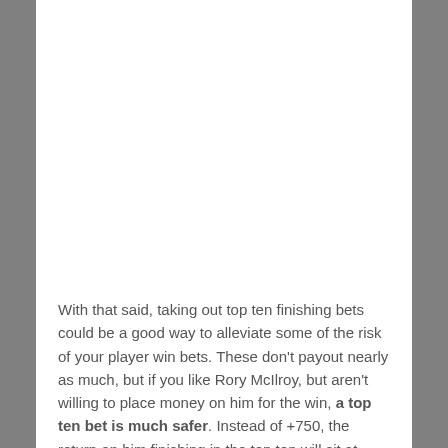With that said, taking out top ten finishing bets could be a good way to alleviate some of the risk of your player win bets. These don't payout nearly as much, but if you like Rory McIlroy, but aren't willing to place money on him for the win, a top ten bet is much safer. Instead of +750, the return on him finishing in the top ten will sit at about -170. You won't win as much with this, but there's a higher